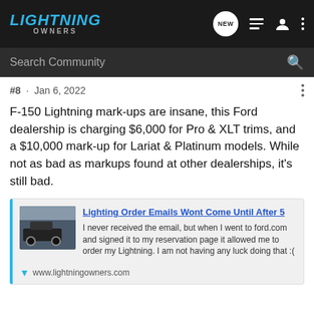LIGHTNING OWNERS
#8 · Jan 6, 2022
F-150 Lightning mark-ups are insane, this Ford dealership is charging $6,000 for Pro & XLT trims, and a $10,000 mark-up for Lariat & Platinum models. While not as bad as markups found at other dealerships, it's still bad.
[Figure (screenshot): Link preview card for 'Lighting Order Emails Wont Come Until After 5' from www.lightningowners.com with thumbnail of F-150 Lightning truck]
www.lightningowners.com